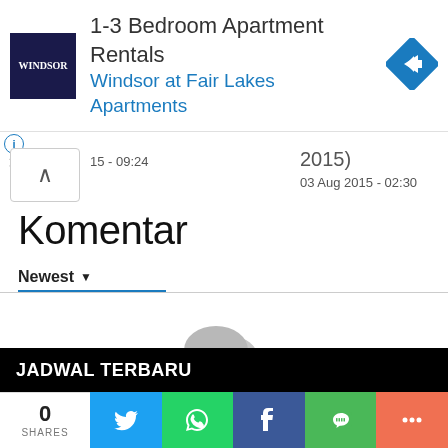[Figure (infographic): Advertisement banner for Windsor at Fair Lakes Apartments showing logo, text '1-3 Bedroom Apartment Rentals Windsor at Fair Lakes Apartments' and a blue navigation arrow icon]
15 - 09:24
2015)
03 Aug 2015 - 02:30
Komentar
Newest ▼
[Figure (illustration): Gray speech bubble icons indicating no comments]
No comments
JADWAL TERBARU
0
SHARES